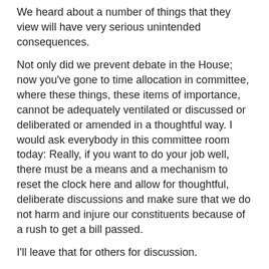We heard about a number of things that they view will have very serious unintended consequences.
Not only did we prevent debate in the House; now you've gone to time allocation in committee, where these things, these items of importance, cannot be adequately ventilated or discussed or deliberated or amended in a thoughtful way. I would ask everybody in this committee room today: Really, if you want to do your job well, there must be a means and a mechanism to reset the clock here and allow for thoughtful, deliberate discussions and make sure that we do not harm and injure our constituents because of a rush to get a bill passed.
I'll leave that for others for discussion.
The Chair (Mr. Grant Crack): Thank you very much, Mr. Hillier. Mr. Yurek?
Mr. Jeff Yurek: Thank you very much, Chair. I'd like to commend Randy here for bringing forth his thoughts on